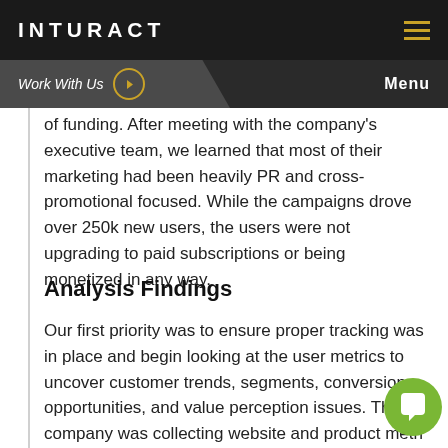INTURACT
of funding. After meeting with the company's executive team, we learned that most of their marketing had been heavily PR and cross-promotional focused. While the campaigns drove over 250k new users, the users were not upgrading to paid subscriptions or being monetized in any way.
Analysis Findings
Our first priority was to ensure proper tracking was in place and begin looking at the user metrics to uncover customer trends, segments, conversion opportunities, and value perception issues. The company was collecting website and product metrics through Google Analytics, however, this didn't